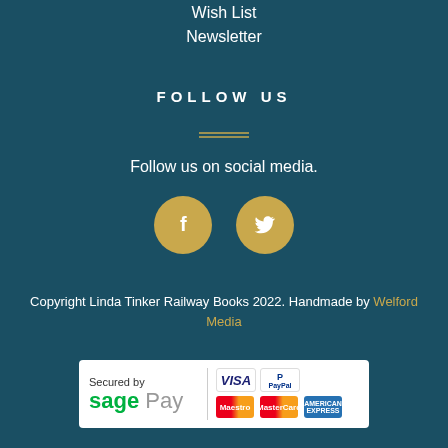Wish List
Newsletter
FOLLOW US
Follow us on social media.
[Figure (illustration): Facebook and Twitter social media icon circles in gold/tan color]
Copyright Linda Tinker Railway Books 2022. Handmade by Welford Media
[Figure (logo): Secured by Sage Pay logo with Visa, PayPal, Maestro, MasterCard, and American Express card logos]